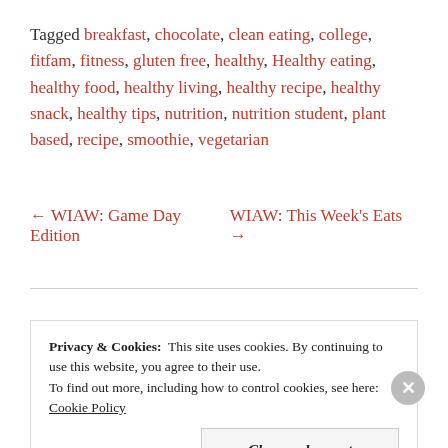Tagged breakfast, chocolate, clean eating, college, fitfam, fitness, gluten free, healthy, Healthy eating, healthy food, healthy living, healthy recipe, healthy snack, healthy tips, nutrition, nutrition student, plant based, recipe, smoothie, vegetarian
← WIAW: Game Day Edition    WIAW: This Week's Eats →
Privacy & Cookies: This site uses cookies. By continuing to use this website, you agree to their use. To find out more, including how to control cookies, see here: Cookie Policy